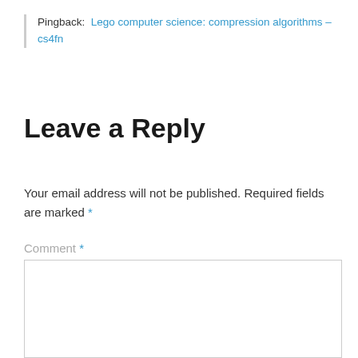Pingback: Lego computer science: compression algorithms – cs4fn
Leave a Reply
Your email address will not be published. Required fields are marked *
Comment *